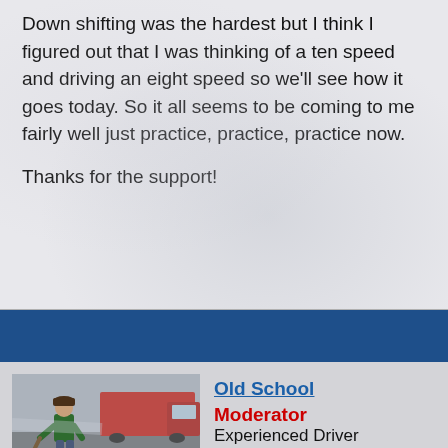Down shifting was the hardest but I think I figured out that I was thinking of a ten speed and driving an eight speed so we'll see how it goes today. So it all seems to be coming to me fairly well just practice, practice, practice now.
Thanks for the support!
[Figure (photo): Photo of a person (worker) in a green jacket and hat working on a wet road surface, with a red truck visible in the background.]
Old School
Moderator
Experienced Driver
Posts: 10956